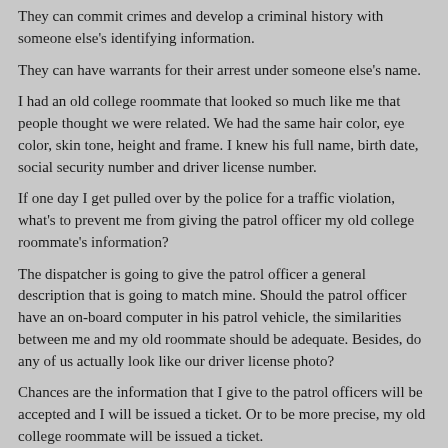They can commit crimes and develop a criminal history with someone else's identifying information.
They can have warrants for their arrest under someone else's name.
I had an old college roommate that looked so much like me that people thought we were related. We had the same hair color, eye color, skin tone, height and frame. I knew his full name, birth date, social security number and driver license number.
If one day I get pulled over by the police for a traffic violation, what's to prevent me from giving the patrol officer my old college roommate's information?
The dispatcher is going to give the patrol officer a general description that is going to match mine. Should the patrol officer have an on-board computer in his patrol vehicle, the similarities between me and my old roommate should be adequate. Besides, do any of us actually look like our driver license photo?
Chances are the information that I give to the patrol officers will be accepted and I will be issued a ticket. Or to be more precise, my old college roommate will be issued a ticket.
Now am I going to court for this ticket? Most likely not. So now a